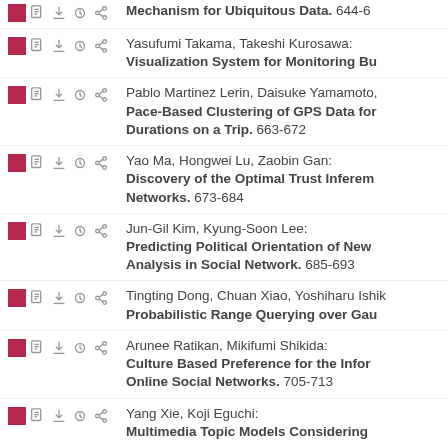Mechanism for Ubiquitous Data. 644-6
Yasufumi Takama, Takeshi Kurosawa: Visualization System for Monitoring Bu
Pablo Martinez Lerin, Daisuke Yamamoto: Pace-Based Clustering of GPS Data for Durations on a Trip. 663-672
Yao Ma, Hongwei Lu, Zaobin Gan: Discovery of the Optimal Trust Inferen Networks. 673-684
Jun-Gil Kim, Kyung-Soon Lee: Predicting Political Orientation of New Analysis in Social Network. 685-693
Tingting Dong, Chuan Xiao, Yoshiharu Ishik Probabilistic Range Querying over Gau
Arunee Ratikan, Mikifumi Shikida: Culture Based Preference for the Infor Online Social Networks. 705-713
Yang Xie, Koji Eguchi: Multimedia Topic Models Considering